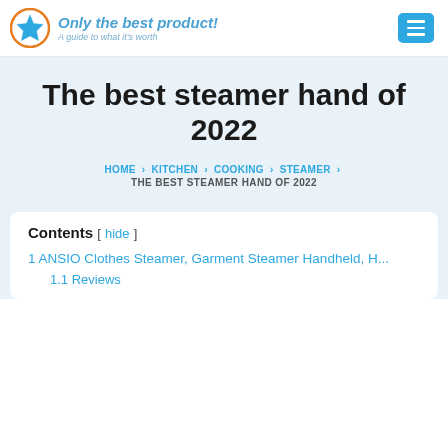[Figure (logo): Only the best product! logo with star icon in orange circle and blue text. Subtitle: A guide to what it's worth]
The best steamer hand of 2022
HOME > KITCHEN > COOKING > STEAMER > THE BEST STEAMER HAND OF 2022
Contents [ hide ]
1 ANSIO Clothes Steamer, Garment Steamer Handheld, H...
1.1 Reviews